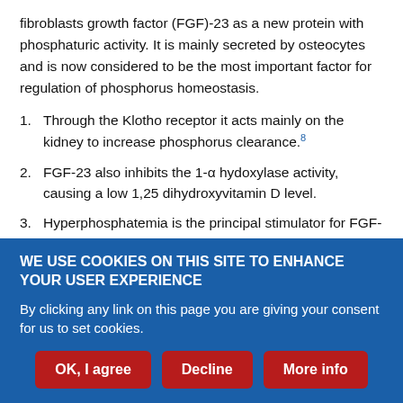fibroblasts growth factor (FGF)-23 as a new protein with phosphaturic activity. It is mainly secreted by osteocytes and is now considered to be the most important factor for regulation of phosphorus homeostasis.
Through the Klotho receptor it acts mainly on the kidney to increase phosphorus clearance.⁸
FGF-23 also inhibits the 1-α hydoxylase activity, causing a low 1,25 dihydroxyvitamin D level.
Hyperphosphatemia is the principal stimulator for FGF-23.
It is not yet proven if there is any direct relation between PTH and
WE USE COOKIES ON THIS SITE TO ENHANCE YOUR USER EXPERIENCE
By clicking any link on this page you are giving your consent for us to set cookies.
OK, I agree | Decline | More info